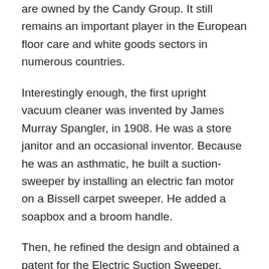are owned by the Candy Group. It still remains an important player in the European floor care and white goods sectors in numerous countries.
Interestingly enough, the first upright vacuum cleaner was invented by James Murray Spangler, in 1908. He was a store janitor and an occasional inventor. Because he was an asthmatic, he built a suction-sweeper by installing an electric fan motor on a Bissell carpet sweeper. He added a soapbox and a broom handle.
Then, he refined the design and obtained a patent for the Electric Suction Sweeper. Thus, he started producing it himself. William Henry “Boss” Hoover’s wife was very impressed by the product, so he bought the patent from Spangler in 1908, and founded the Electric Suction Sweeper Company. This was the beginning of the Hoover